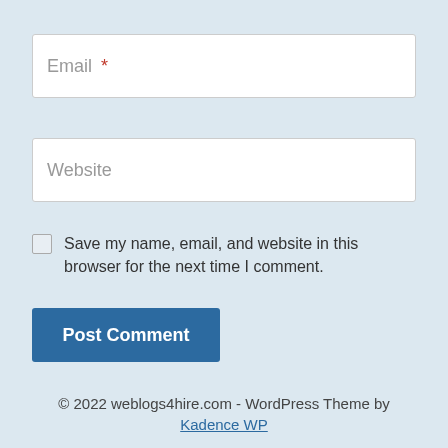Email *
Website
Save my name, email, and website in this browser for the next time I comment.
Post Comment
© 2022 weblogs4hire.com - WordPress Theme by Kadence WP